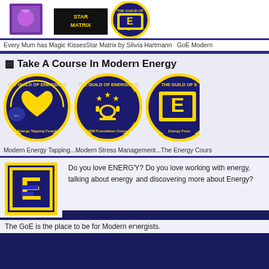[Figure (screenshot): Top section showing book covers/products: 'Every Mum has Magic Kisses', 'Star Matrix by Silvia Hartmann', 'GoE Modern' (partially visible)]
Every Mum has Magic KissesStar Matrix by Silvia Hartmann  GoE Modern
⬛ Take A Course In Modern Energy
[Figure (screenshot): Three Guild of Energists circular badges: Modern Energy Tapping (heart icon), MSM Foundation Course (trophy icon), Energy Foundation (E logo) - partially visible]
Modern Energy Tapping...Modern Stress Management...The Energy Cours
[Figure (logo): GoE logo: gold square border with blue E letter on dark background]
Do you love ENERGY? Do you love working with energy, talking about energy and discovering more about Energy?
The GoE is the place to be for Modern energists.